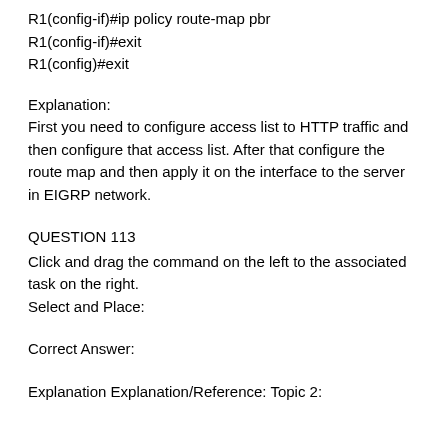R1(config-if)#ip policy route-map pbr
R1(config-if)#exit
R1(config)#exit
Explanation:
First you need to configure access list to HTTP traffic and then configure that access list. After that configure the route map and then apply it on the interface to the server in EIGRP network.
QUESTION 113
Click and drag the command on the left to the associated task on the right.
Select and Place:
Correct Answer:
Explanation Explanation/Reference: Topic 2: